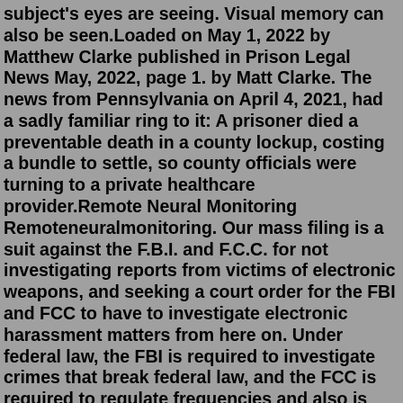subject's eyes are seeing. Visual memory can also be seen.Loaded on May 1, 2022 by Matthew Clarke published in Prison Legal News May, 2022, page 1. by Matt Clarke. The news from Pennsylvania on April 4, 2021, had a sadly familiar ring to it: A prisoner died a preventable death in a county lockup, costing a bundle to settle, so county officials were turning to a private healthcare provider.Remote Neural Monitoring Remoteneuralmonitoring. Our mass filing is a suit against the F.B.I. and F.C.C. for not investigating reports from victims of electronic weapons, and seeking a court order for the FBI and FCC to have to investigate electronic harassment matters from here on. Under federal law, the FBI is required to investigate crimes that break federal law, and the FCC is required to regulate frequencies and also is the only organization to have the equipment needed to find where ... Is remote neural monitoring legal; house for rent with pool airbnb; usc school of pharmacy faculty; asheville tubing brewery tour; taunton crime news; volscalarfield openfoam; wreck